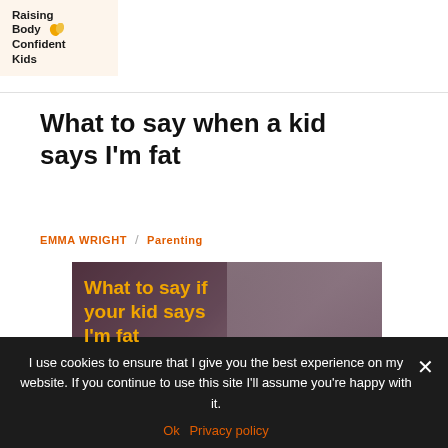Raising Body Confident Kids
What to say when a kid says I'm fat
EMMA WRIGHT / Parenting
[Figure (photo): Photo of an adult and child with yellow bold text overlay reading: What to say if your kid says I'm fat]
I use cookies to ensure that I give you the best experience on my website. If you continue to use this site I'll assume you're happy with it.
Ok  Privacy policy